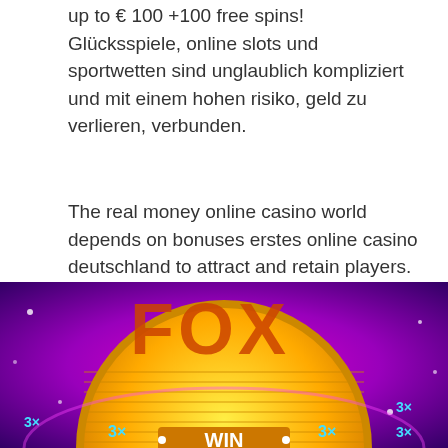up to € 100 +100 free spins! Glücksspiele, online slots und sportwetten sind unglaublich kompliziert und mit einem hohen risiko, geld zu verlieren, verbunden.
The real money online casino world depends on bonuses erstes online casino deutschland to attract and retain players. Where to go to win big. Finde das beste online casino für jeden anlass.
Continue reading
Leave a Comment
[Figure (photo): Colorful slot machine image with purple and pink background, showing a golden circular slot wheel with text 'WIN' and '3x' multiplier labels around it.]